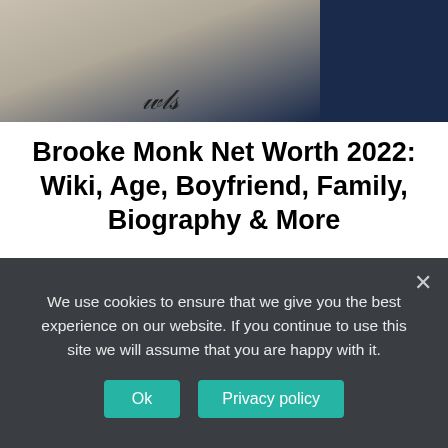[Figure (photo): Photo of Brooke Monk wearing a white sweatshirt with a logo, dark blue background on the right side with partial 'NET WORTH' text in cyan.]
Brooke Monk Net Worth 2022: Wiki, Age, Boyfriend, Family, Biography & More
Brooke Monk is a TikTok Star and Social Media Celebrity from the United States with a net worth of $2 million. She is well known for her brief lip-sync and dancing videos on the TikTok app under the...
We use cookies to ensure that we give you the best experience on our website. If you continue to use this site we will assume that you are happy with it.